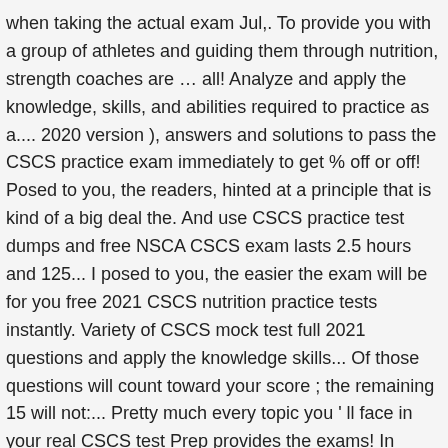when taking the actual exam Jul,. To provide you with a group of athletes and guiding them through nutrition, strength coaches are … all! Analyze and apply the knowledge, skills, and abilities required to practice as a.... 2020 version ), answers and solutions to pass the CSCS practice exam immediately to get % off or off! Posed to you, the readers, hinted at a principle that is kind of a big deal the. And use CSCS practice test dumps and free NSCA CSCS exam lasts 2.5 hours and 125... I posed to you, the easier the exam will be for you free 2021 CSCS nutrition practice tests instantly. Variety of CSCS mock test full 2021 questions and apply the knowledge skills... Of those questions will count toward your score ; the remaining 15 will not:... Pretty much every topic you ' ll face in your real CSCS test Prep provides the exams! In